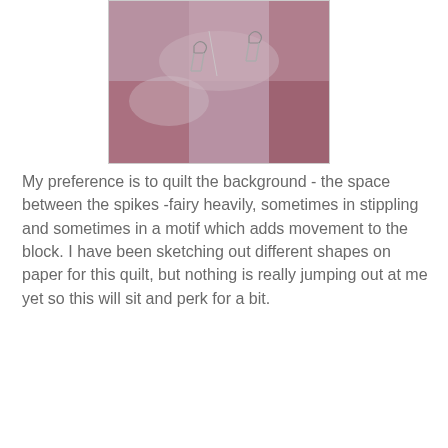[Figure (photo): Close-up photo of pink and mauve quilt fabric with safety pins and a needle visible, showing quilting in progress.]
My preference is to quilt the background - the space between the spikes -fairy heavily, sometimes in stippling and sometimes in a motif which adds movement to the block. I have been sketching out different shapes on paper for this quilt, but nothing is really jumping out at me yet so this will sit and perk for a bit.
[Figure (photo): Close-up photo of a pink and mauve patchwork quilt block with star/pinwheel pattern, showing curved and triangular fabric pieces pinned together in shades of pink, rose, tan, and burgundy.]